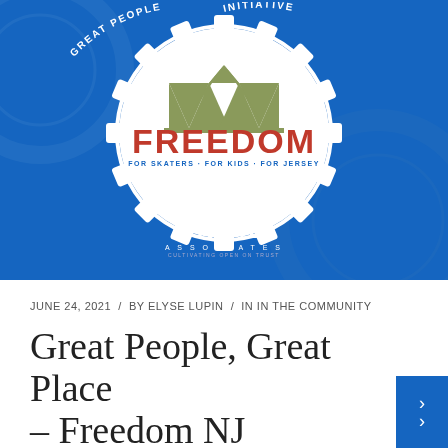[Figure (logo): Blue banner with white gear/cog wheel containing a bridge logo, 'FREEDOM FOR SKATERS · FOR KIDS · FOR JERSEY' text in red and blue, curved white text reading 'GREAT PEOPLE... INITIATIVE', and Triad Associates logo at the bottom on blue background.]
JUNE 24, 2021  /  BY ELYSE LUPIN  /  IN IN THE COMMUNITY
Great People, Great Place – Freedom NJ